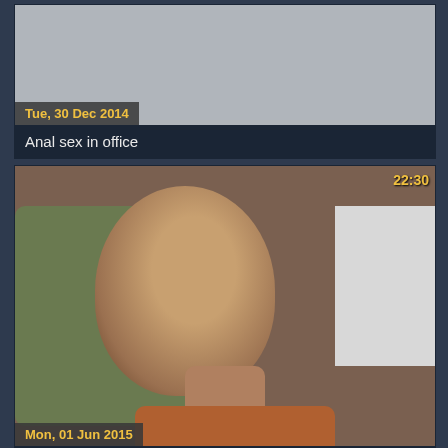[Figure (screenshot): Video thumbnail placeholder (grey box) with date badge 'Tue, 30 Dec 2014']
Anal sex in office
[Figure (photo): Video thumbnail showing a bald man leaning forward outdoors. Duration badge '22:30', date badge 'Mon, 01 Jun 2015']
Anal Sex Big White Dick and Cute Black ...
[Figure (photo): Partial video thumbnail, dark scene. Duration badge '12:00']